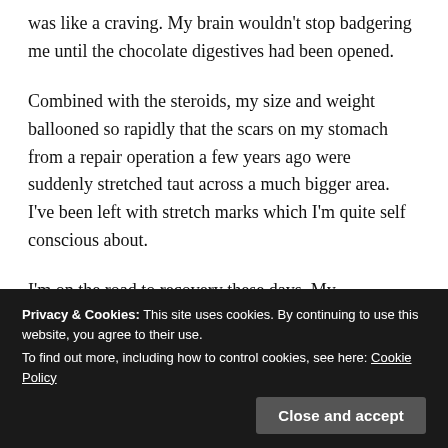was like a craving. My brain wouldn't stop badgering me until the chocolate digestives had been opened.
Combined with the steroids, my size and weight ballooned so rapidly that the scars on my stomach from a repair operation a few years ago were suddenly stretched taut across a much bigger area. I've been left with stretch marks which I'm quite self conscious about.
I'm on the road to recovery these days. My
Privacy & Cookies: This site uses cookies. By continuing to use this website, you agree to their use.
To find out more, including how to control cookies, see here: Cookie Policy